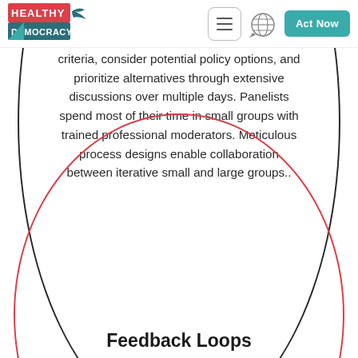[Figure (logo): Healthy Democracy logo - red and teal with bird silhouette]
criteria, consider potential policy options, and prioritize alternatives through extensive discussions over multiple days. Panelists spend most of their time in small groups with trained professional moderators. Meticulous process designs enable collaboration between iterative small and large groups..
Feedback Loops